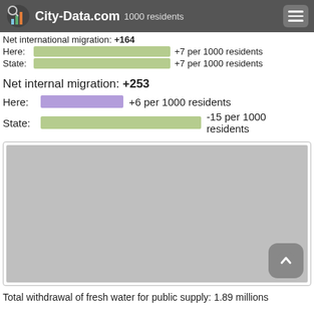City-Data.com  +1000 residents
Net international migration: +164
Here:  +7 per 1000 residents
State:  +7 per 1000 residents
Net internal migration: +253
Here:  +6 per 1000 residents
State:  -15 per 1000 residents
[Figure (other): Gray advertisement placeholder box with scroll-to-top button]
Total withdrawal of fresh water for public supply: 1.89 millions